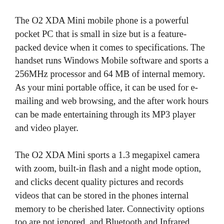The O2 XDA Mini mobile phone is a powerful pocket PC that is small in size but is a feature-packed device when it comes to specifications. The handset runs Windows Mobile software and sports a 256MHz processor and 64 MB of internal memory. As your mini portable office, it can be used for e-mailing and web browsing, and the after work hours can be made entertaining through its MP3 player and video player.
The O2 XDA Mini sports a 1.3 megapixel camera with zoom, built-in flash and a night mode option, and clicks decent quality pictures and records videos that can be stored in the phones internal memory to be cherished later. Connectivity options too are not ignored, and Bluetooth and Infrared facilitates quick and easy wireless data transfer. This O2 device comes equipped with the Windows software that includes mobile versions of Internet Explorer, MSN...